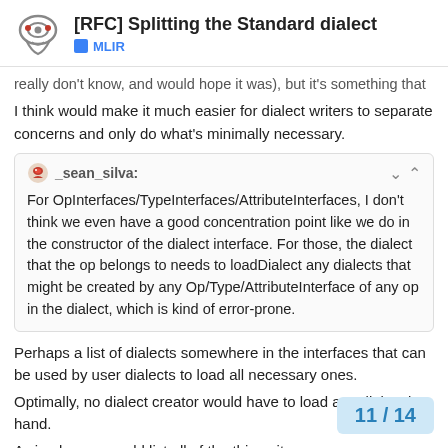[RFC] Splitting the Standard dialect — MLIR
really don't know, and would hope it was), but it's something that I think would make it much easier for dialect writers to separate concerns and only do what's minimally necessary.
_sean_silva:
For OpInterfaces/TypeInterfaces/AttributeInterfaces, I don't think we even have a good concentration point like we do in the constructor of the dialect interface. For those, the dialect that the op belongs to needs to loadDialect any dialects that might be created by any Op/Type/AttributeInterface of any op in the dialect, which is kind of error-prone.
Perhaps a list of dialects somewhere in the interfaces that can be used by user dialects to load all necessary ones.
Optimally, no dialect creator would have to load any dialect by hand.
A simple way would list all of the things it n…